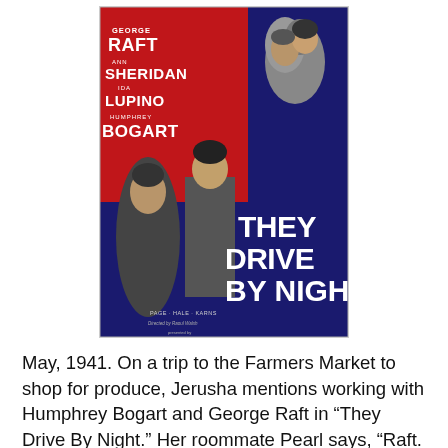[Figure (photo): Movie poster for 'They Drive By Night' featuring George Raft, Ann Sheridan, Ida Lupino, Humphrey Bogart. Text on poster: GEORGE RAFT, ANN SHERIDAN, IDA LUPINO, HUMPHREY BOGART, THEY DRIVE BY NIGHT, PAGE · HALE · KARNS, Directed by Raoul Walsh, presented by WARNER BROS.]
May, 1941. On a trip to the Farmers Market to shop for produce, Jerusha mentions working with Humphrey Bogart and George Raft in “They Drive By Night.” Her roommate Pearl says, “Raft. Can that man dance! What a pepper shaker.”
At the market, Jerusha meets a young man named Tod Howard. He’s selling fresh-picked strawberries in